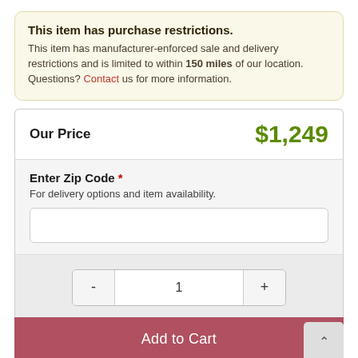This item has purchase restrictions. This item has manufacturer-enforced sale and delivery restrictions and is limited to within 150 miles of our location. Questions? Contact us for more information.
Our Price  $1,249
Enter Zip Code * For delivery options and item availability.
- 1 +
Add to Cart